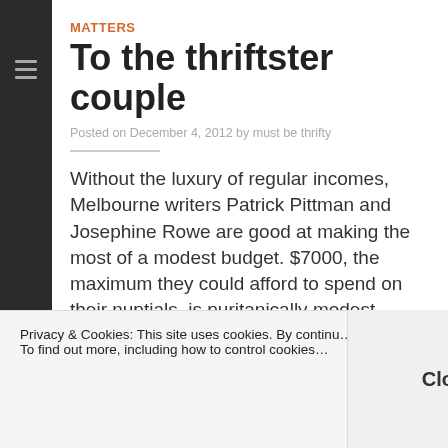MATTERS
To the thriftster couple
Posted on December 4, 2012 by must be thrifty
Without the luxury of regular incomes, Melbourne writers Patrick Pittman and Josephine Rowe are good at making the most of a modest budget. $7000, the maximum they could afford to spend on their nuptials, is puritanically modest, considering the average Australian wedding totals at $36,200 (IBISWorld, via The Age).
Privacy & Cookies: This site uses cookies. By continuing to use this website, you agree to their use. To find out more, including how to control cookies, Close and accept